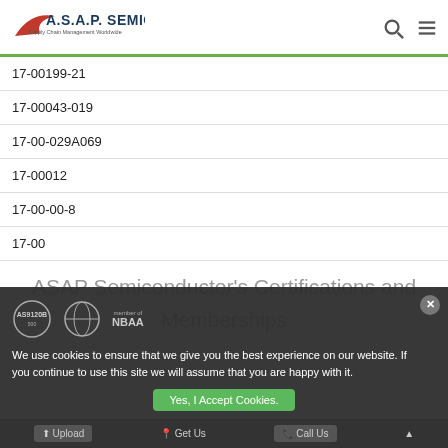A.S.A.P. SEMICONDUCTOR Supply Chain Management Worldwide
| Part Number |
| --- |
| 17-00199-21 |
| 17-00043-019 |
| 17-00-029A069 |
| 17-00012 |
| 17-00-00-8 |
| 17-00 |
ASAP Semiconductor's Certifications and Memberships
We use cookies to ensure that we give you the best experience on our website. If you continue to use this site we will assume that you are happy with it.
Yes, I Accept Cookies.